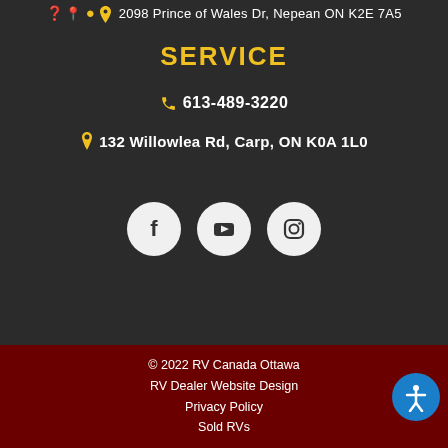2098 Prince of Wales Dr, Nepean ON K2E 7A5
SERVICE
613-489-3220
132 Willowlea Rd, Carp, ON K0A 1L0
[Figure (infographic): Three social media icon circles: Facebook, YouTube, Instagram]
© 2022 RV Canada Ottawa
RV Dealer Website Design
Privacy Policy
Sold RVs